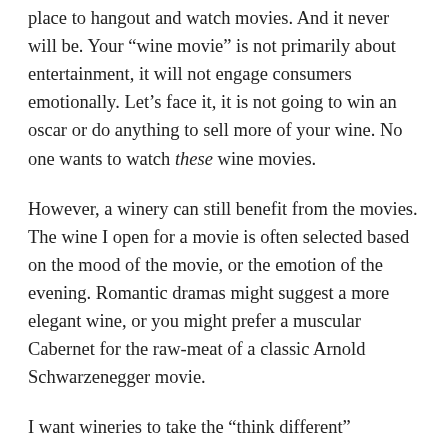place to hangout and watch movies. And it never will be. Your “wine movie” is not primarily about entertainment, it will not engage consumers emotionally. Let’s face it, it is not going to win an oscar or do anything to sell more of your wine. No one wants to watch these wine movies.
However, a winery can still benefit from the movies. The wine I open for a movie is often selected based on the mood of the movie, or the emotion of the evening. Romantic dramas might suggest a more elegant wine, or you might prefer a muscular Cabernet for the raw-meat of a classic Arnold Schwarzenegger movie.
I want wineries to take the “think different” challenge. Don’t plan the film that you want to make about yourself and your wines, think instead of the movies that have already been made. This weekend, for example, try those that are up for an Academy Award (Oscar). Why not tell us which of the films is the best match for your wines, those shortlisted for it? Do...